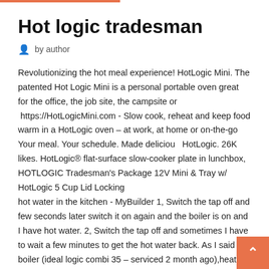Hot logic tradesman
by author
Revolutionizing the hot meal experience! HotLogic Mini. The patented Hot Logic Mini is a personal portable oven great for the office, the job site, the campsite or  https://HotLogicMini.com - Slow cook, reheat and keep food warm in a HotLogic oven – at work, at home or on-the-go Your meal. Your schedule. Made deliciou  HotLogic. 26K likes. HotLogic® flat-surface slow-cooker plate in lunchbox, HOTLOGIC Tradesman's Package 12V Mini & Tray w/ HotLogic 5 Cup Lid Locking
hot water in the kitchen - MyBuilder 1, Switch the tap off and few seconds later switch it on again and the boiler is on and I have hot water. 2, Switch the tap off and sometimes I have to wait a few minutes to get the hot water back. As I said the boiler (ideal logic combi 35 – serviced 2 month ago),heating, hot water is ok. Only I … Reasons Your Transmission is Overheating AAMCO Colorado Jun 07, 2017 · If your transmission is running